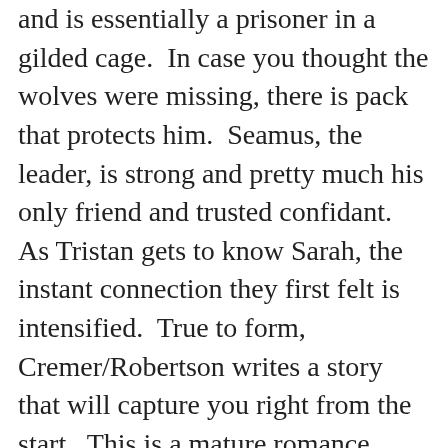and is essentially a prisoner in a gilded cage. In case you thought the wolves were missing, there is pack that protects him. Seamus, the leader, is strong and pretty much his only friend and trusted confidant. As Tristan gets to know Sarah, the instant connection they first felt is intensified. True to form, Cremer/Robertson writes a story that will capture you right from the start. This is a mature romance between consenting adults and she gets it right. Instead of just throwing in sexual situations, the whole romance happens naturally and believably. The best part: the whole interaction is based on respect and trust. Of course, the story gives you background on the basis for the Nightshade stories, but I